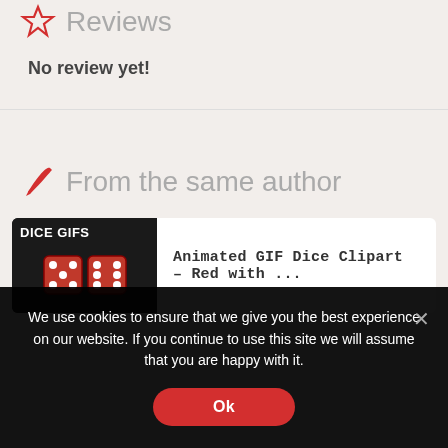Reviews
No review yet!
From the same author
[Figure (illustration): Dice GIFs product thumbnail showing red dice on dark background with text 'DICE GIFS']
Animated GIF Dice Clipart – Red with ...
We use cookies to ensure that we give you the best experience on our website. If you continue to use this site we will assume that you are happy with it.
Ok